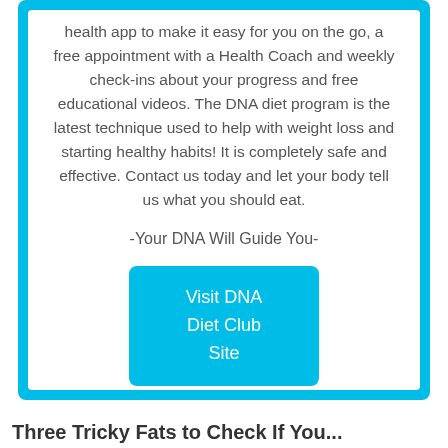health app to make it easy for you on the go, a free appointment with a Health Coach and weekly check-ins about your progress and free educational videos. The DNA diet program is the latest technique used to help with weight loss and starting healthy habits! It is completely safe and effective. Contact us today and let your body tell us what you should eat.
-Your DNA Will Guide You-
[Figure (other): Cyan/blue rounded rectangle button with white text reading 'Visit DNA Diet Club Site']
Three Tricky Fats to Check If You...